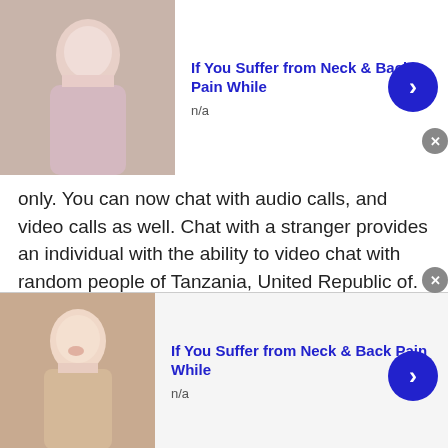[Figure (photo): Advertisement banner: woman touching her neck/shoulder, text 'If You Suffer from Neck & Back Pain While', subtext 'n/a', with blue arrow button]
only. You can now chat with audio calls, and video calls as well. Chat with a stranger provides an individual with the ability to video chat with random people of Tanzania, United Republic of. Through video chat, you can also see how the people in Tanzania, United Republic of are living. The reason being, there has been a conception around the world that Tanzania, United Republic of is a poor country. Now since you can chat with people of Tanzania, United Republic of these things can also be solved
[Figure (photo): Advertisement banner: woman touching her neck, text 'If You Suffer from Neck & Back Pain While', subtext 'n/a', with blue arrow button]